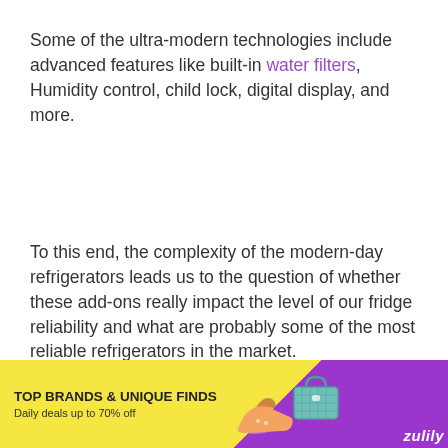Some of the ultra-modern technologies include advanced features like built-in water filters, Humidity control, child lock, digital display, and more.
To this end, the complexity of the modern-day refrigerators leads us to the question of whether these add-ons really impact the level of our fridge reliability and what are probably some of the most reliable refrigerators in the market.
There is no easy way of knowing the most reliable
[Figure (other): Advertisement banner for Zulily: 'TOP BRANDS & UNIQUE FINDS / Daily deals up to 70% off' with SHOP NOW button, images of shoes and a purse, yellow and purple background.]